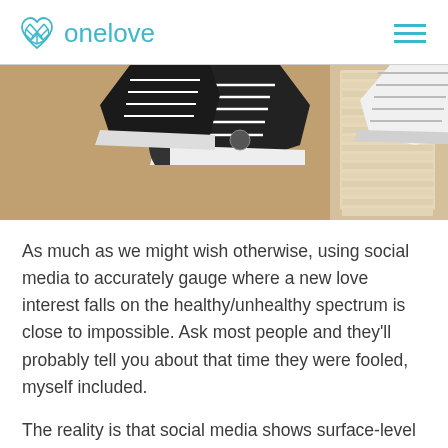onelove
[Figure (photo): Cropped photo of two people's feet wearing sneakers, one pair black Converse and one pair white, appearing to be jumping or airborne, with a light-colored wall and window blinds in the background.]
As much as we might wish otherwise, using social media to accurately gauge where a new love interest falls on the healthy/unhealthy spectrum is close to impossible. Ask most people and they'll probably tell you about that time they were fooled, myself included.
The reality is that social media shows surface-level